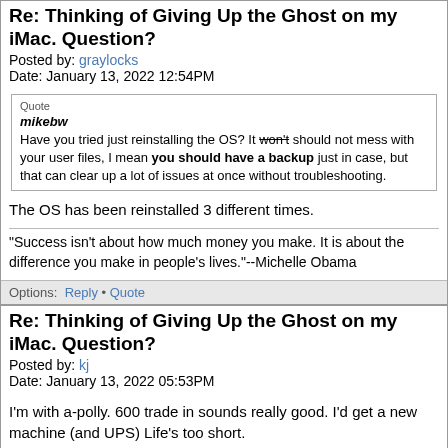Re: Thinking of Giving Up the Ghost on my iMac. Question?
Posted by: graylocks
Date: January 13, 2022 12:54PM
Quote
mikebw
Have you tried just reinstalling the OS? It won't should not mess with your user files, I mean you should have a backup just in case, but that can clear up a lot of issues at once without troubleshooting.
The OS has been reinstalled 3 different times.
"Success isn't about how much money you make. It is about the difference you make in people's lives."--Michelle Obama
Options: Reply • Quote
Re: Thinking of Giving Up the Ghost on my iMac. Question?
Posted by: kj
Date: January 13, 2022 05:53PM
I'm with a-polly. 600 trade in sounds really good. I'd get a new machine (and UPS) Life's too short.
Options: Reply • Quote
Re: Thinking of Giving Up the Ghost on my iMac.